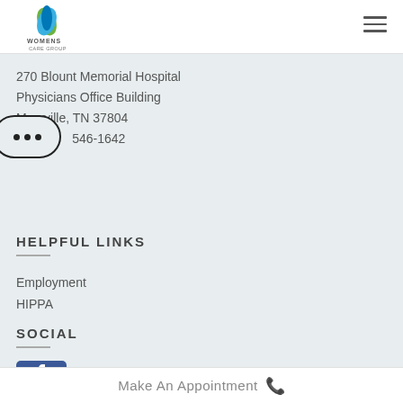[Figure (logo): Women's Care Group logo with green/blue leaf and letter M]
270 Blount Memorial Hospital Physicians Office Building Maryville, TN 37804 546-1642
HELPFUL LINKS
Employment
HIPPA
SOCIAL
[Figure (logo): Facebook logo/icon (blue, partially visible)]
Make An Appointment 📞